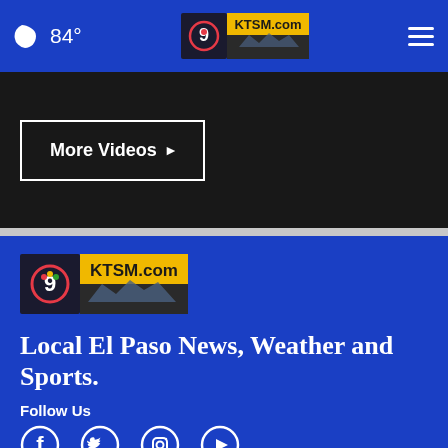84° KTSM.com navigation bar
More Videos ▶
[Figure (logo): KTSM.com logo with NBC 9 peacock icon, yellow and dark background]
Local El Paso News, Weather and Sports.
Follow Us
[Figure (infographic): Social media icons: Facebook, Twitter, Instagram, YouTube]